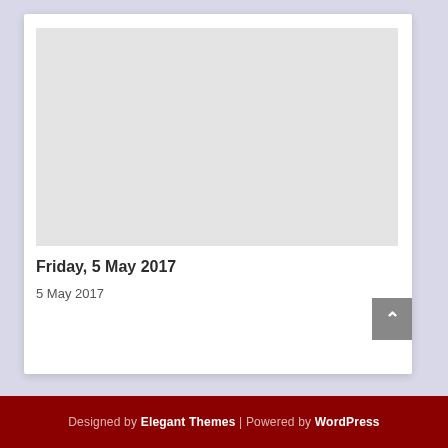[Figure (other): Light gray placeholder image block]
Friday, 5 May 2017
5 May 2017
Designed by Elegant Themes | Powered by WordPress